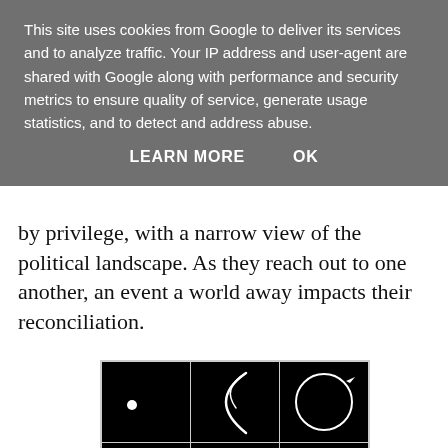This site uses cookies from Google to deliver its services and to analyze traffic. Your IP address and user-agent are shared with Google along with performance and security metrics to ensure quality of service, generate usage statistics, and to detect and address abuse.
LEARN MORE   OK
by privilege, with a narrow view of the political landscape. As they reach out to one another, an event a world away impacts their reconciliation.
[Figure (illustration): A 3x3 grid of black square panels. Top row: a white dot on black background, a white crescent/arc brushstroke on black, a white circle outline on black. Bottom two rows show white line-art drawings of hands in various positions on black backgrounds.]